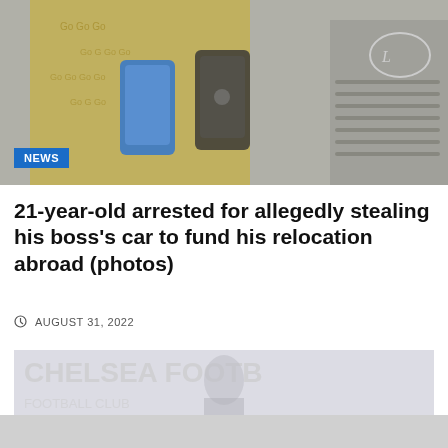[Figure (photo): Two people holding smartphones (blue and dark), one wearing a yellow Gucci-patterned outfit, with a Lexus car visible in the background.]
NEWS
21-year-old arrested for allegedly stealing his boss's car to fund his relocation abroad (photos)
AUGUST 31, 2022
[Figure (photo): Faded/washed out photo showing a person at what appears to be a Chelsea Football Club press backdrop.]